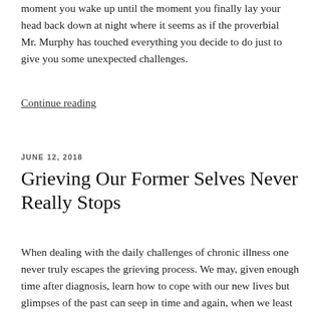moment you wake up until the moment you finally lay your head back down at night where it seems as if the proverbial Mr. Murphy has touched everything you decide to do just to give you some unexpected challenges.
Continue reading
JUNE 12, 2018
Grieving Our Former Selves Never Really Stops
When dealing with the daily challenges of chronic illness one never truly escapes the grieving process. We may, given enough time after diagnosis, learn how to cope with our new lives but glimpses of the past can seep in time and again, when we least expect it. Let me share with you just one such example of how this can happen